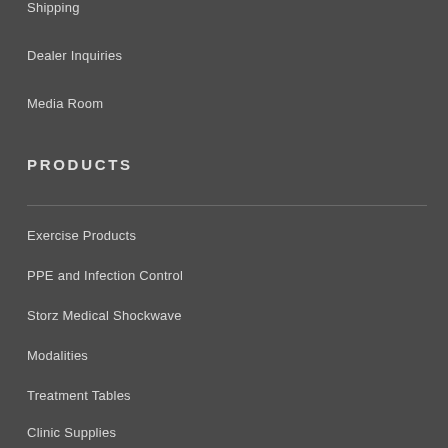Shipping
Dealer Inquiries
Media Room
PRODUCTS
Exercise Products
PPE and Infection Control
Storz Medical Shockwave
Modalities
Treatment Tables
Clinic Supplies
Evaluation
Fitness, Strength & Cardio